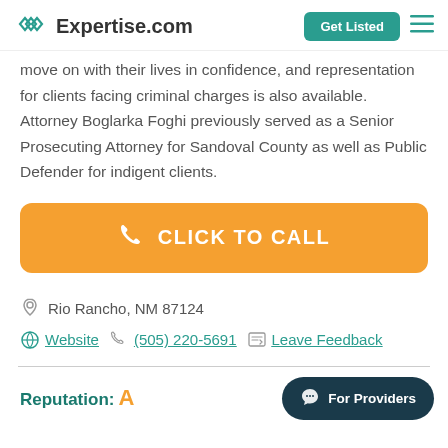Expertise.com | Get Listed
move on with their lives in confidence, and representation for clients facing criminal charges is also available. Attorney Boglarka Foghi previously served as a Senior Prosecuting Attorney for Sandoval County as well as Public Defender for indigent clients.
[Figure (other): Orange CLICK TO CALL button with phone icon]
Rio Rancho, NM 87124
Website  (505) 220-5691  Leave Feedback
Reputation: A
For Providers